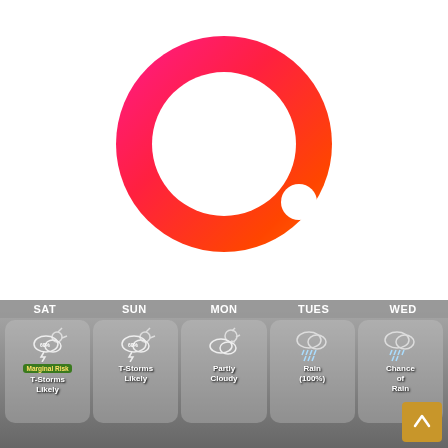[Figure (logo): Circular ring logo with gradient from hot pink/magenta on left to orange-red on right, with a small white circle at bottom-right of the ring. Center is hollow white.]
[Figure (infographic): 5-day weather forecast strip showing SAT, SUN, MON, TUES, WED columns. SAT: T-Storms Likely (60%), 'Marginal Risk' badge. SUN: T-Storms Likely (60%). MON: Partly Cloudy. TUES: Rain (100%). WED: Chance of Rain. Cloudy stormy background.]